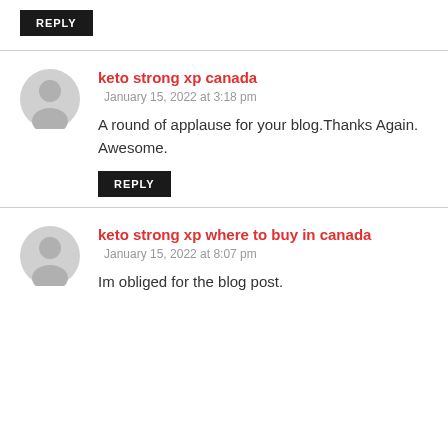REPLY
keto strong xp canada
January 15, 2022 at 3:18 pm
A round of applause for your blog.Thanks Again. Awesome.
REPLY
keto strong xp where to buy in canada
January 15, 2022 at 8:07 pm
Im obliged for the blog post.